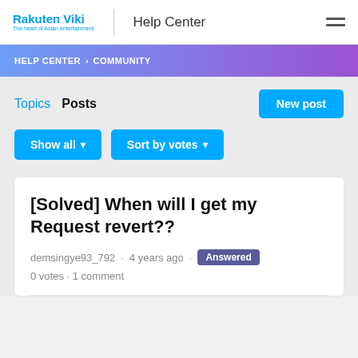Rakuten Viki | Help Center
HELP CENTER › COMMUNITY
Topics  Posts
New post
Show all ▾
Sort by votes ▾
[Solved] When will I get my Request revert??
demsingye93_792 · 4 years ago · Answered 0 votes · 1 comment